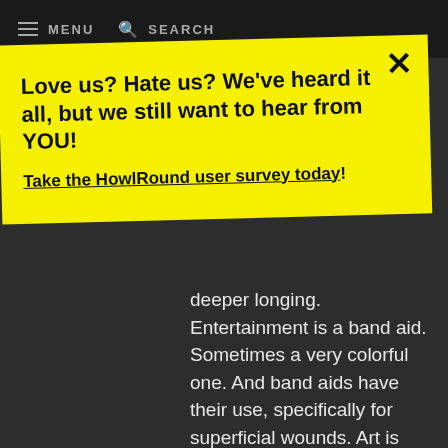MENU   SEARCH
Love us? Hate us? We've heard it all, but we still want to hear from YOU!

Take the HowlRound user survey today!
deeper longing. Entertainment is a band aid. Sometimes a very colorful one. And band aids have their use, specifically for superficial wounds. Art is nectar that seeps deep into the blood to affect our cells. And when you have the high form of theatrical art fused with the quality of ritual,